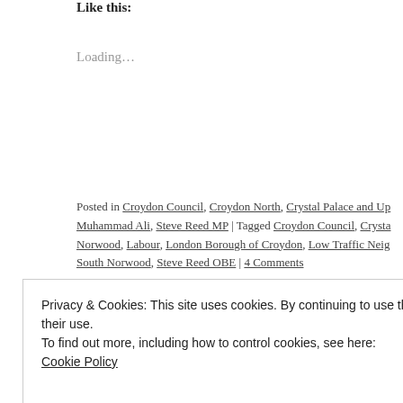Like this:
Loading...
Posted in Croydon Council, Croydon North, Crystal Palace and Up... Muhammad Ali, Steve Reed MP | Tagged Croydon Council, Crysta... Norwood, Labour, London Borough of Croydon, Low Traffic Neigh... South Norwood, Steve Reed OBE | 4 Comments
Government’s £175m for cycle lanes and
Posted on December 12, 2020 by insidecroydon
Privacy & Cookies: This site uses cookies. By continuing to use this website, you agree to their use.
To find out more, including how to control cookies, see here: Cookie Policy
Close and accept